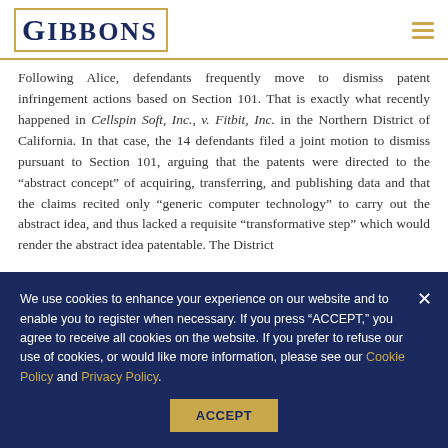GIBBONS
Following Alice, defendants frequently move to dismiss patent infringement actions based on Section 101. That is exactly what recently happened in Cellspin Soft, Inc., v. Fitbit, Inc. in the Northern District of California. In that case, the 14 defendants filed a joint motion to dismiss pursuant to Section 101, arguing that the patents were directed to the "abstract concept" of acquiring, transferring, and publishing data and that the claims recited only "generic computer technology" to carry out the abstract idea, and thus lacked a requisite "transformative step" which would render the abstract idea patentable. The District
We use cookies to enhance your experience on our website and to enable you to register when necessary. If you press "ACCEPT," you agree to receive all cookies on the website. If you prefer to refuse our use of cookies, or would like more information, please see our Cookie Policy and Privacy Policy.